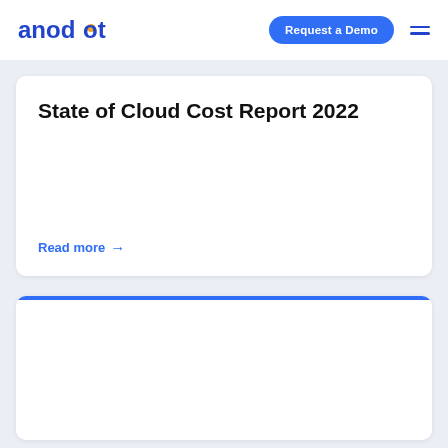anodot | Request a Demo
State of Cloud Cost Report 2022
Read more →